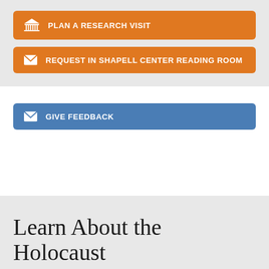PLAN A RESEARCH VISIT
REQUEST IN SHAPELL CENTER READING ROOM
GIVE FEEDBACK
Learn About the Holocaust